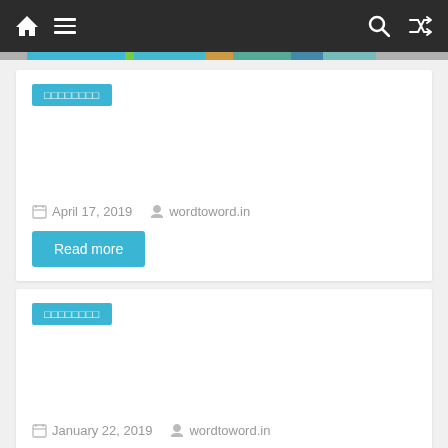Navigation bar with home, menu, search, and shuffle icons
□□□□□□□□
April 17, 2019  wordtoword.in
Read more
□□□□□□□□
January 22, 2019  wordtoword.in
Read more